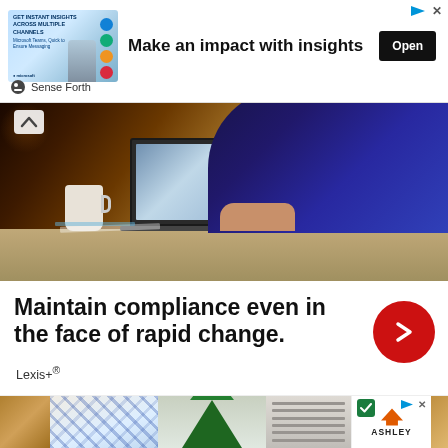[Figure (screenshot): Advertisement banner: thumbnail image with 'GET INSTANT INSIGHTS ACROSS MULTIPLE CHANNELS' text, headline 'Make an impact with insights', and 'Open' button. Brand: Sense Forth. Ad controls at top right.]
[Figure (photo): Photo of a business person in a dark blue suit typing on a laptop computer at a desk with a white coffee mug, bokeh background with warm orange/gold lights.]
[Figure (screenshot): Advertisement: Bold text 'Maintain compliance even in the face of rapid change.' with a red circle chevron-right button and 'Lexis+®' brand name.]
[Figure (screenshot): Bottom row of thumbnail images: area rug, Christmas tree, shelf/bookcase, Ashley furniture logo/ad, food images.]